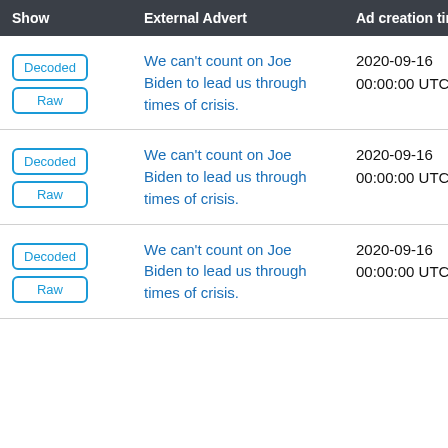| Show | External Advert | Ad creation time |
| --- | --- | --- |
| Decoded / Raw | We can't count on Joe Biden to lead us through times of crisis. | 2020-09-16 00:00:00 UTC |
| Decoded / Raw | We can't count on Joe Biden to lead us through times of crisis. | 2020-09-16 00:00:00 UTC |
| Decoded / Raw | We can't count on Joe Biden to lead us through times of crisis. | 2020-09-16 00:00:00 UTC |